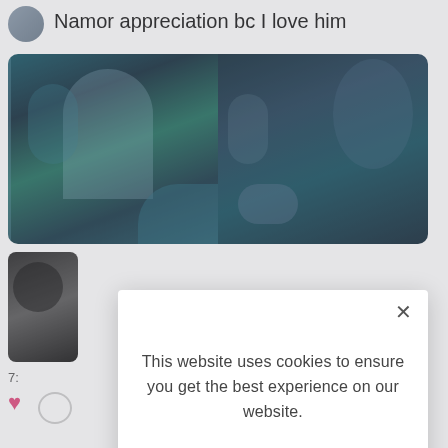Namor appreciation bc I love him
[Figure (screenshot): Two comic book style images side by side showing Namor (Marvel character) in underwater scenes with dramatic artwork]
[Figure (photo): Partial image of another comic panel in black and white]
7:
[Figure (screenshot): Cookie consent modal overlay on a social media page. Contains text: 'This website uses cookies to ensure you get the best experience on our website.' with a LEARN MORE link and ACCEPT COOKIES button.]
This website uses cookies to ensure you get the best experience on our website.
LEARN MORE.
ACCEPT COOKIES